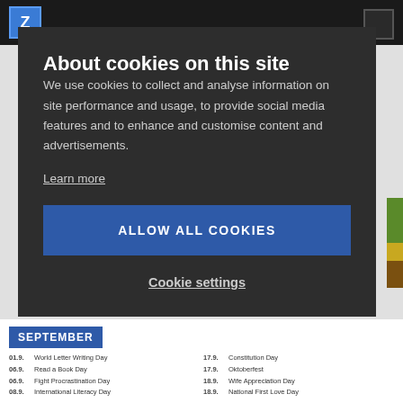About cookies on this site
We use cookies to collect and analyse information on site performance and usage, to provide social media features and to enhance and customise content and advertisements.
Learn more
ALLOW ALL COOKIES
Cookie settings
SEPTEMBER
01.9.  World Letter Writing Day
06.9.  Read a Book Day
06.9.  Fight Procrastination Day
08.9.  International Literacy Day
17.9.  Constitution Day
17.9.  Oktoberfest
18.9.  Wife Appreciation Day
18.9.  National First Love Day